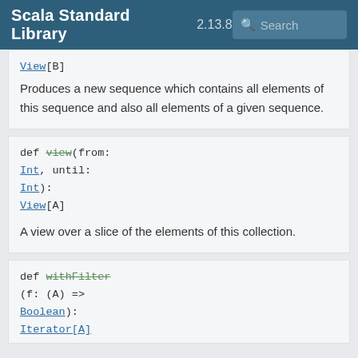Scala Standard Library 2.13.8 Search
View[B]
Produces a new sequence which contains all elements of this sequence and also all elements of a given sequence.
def view(from: Int, until: Int): View[A]
A view over a slice of the elements of this collection.
def withFilter(f: (A) => Boolean): Iterator[A]